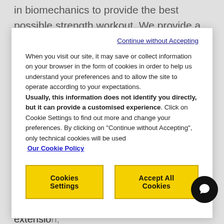in biomechanics to provide the best possible strength workout. We provide a variety of plate loaded for you to
Continue without Accepting

When you visit our site, it may save or collect information on your browser in the form of cookies in order to help us understand your preferences and to allow the site to operate according to your expectations.
Usually, this information does not identify you directly, but it can provide a customised experience. Click on Cookie Settings to find out more and change your preferences. By clicking on "Continue without Accepting", only technical cookies will be used
Our Cookie Policy
Cookies Settings
Accept All Cookies
shape of the user to provide maximum comfort and stability while training. On our leg curl products, you'll also find an optimal resistance profile on our equipment, which increases as the legs move to full extension, meaning users get additional benefits from each workout without having to push harder.